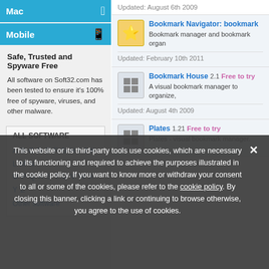Mac
Mobile
Safe, Trusted and Spyware Free
All software on Soft32.com has been tested to ensure it's 100% free of spyware, viruses, and other malware.
ALL SOFTWARE
A B C D E F G H I J K L M N O P Q R S T U V W X Y Z Other software
Updated: August 6th 2009
Bookmark Navigator: bookmark
Bookmark manager and bookmark organ
Updated: February 10th 2011
Bookmark House  2.1  Free to try
A visual bookmark manager to organize,
Updated: August 4th 2009
Plates  1.21  Free to try
Plates - visual bookmark manager.
This website or its third-party tools use cookies, which are necessary to its functioning and required to achieve the purposes illustrated in the cookie policy. If you want to know more or withdraw your consent to all or some of the cookies, please refer to the cookie policy. By closing this banner, clicking a link or continuing to browse otherwise, you agree to the use of cookies.